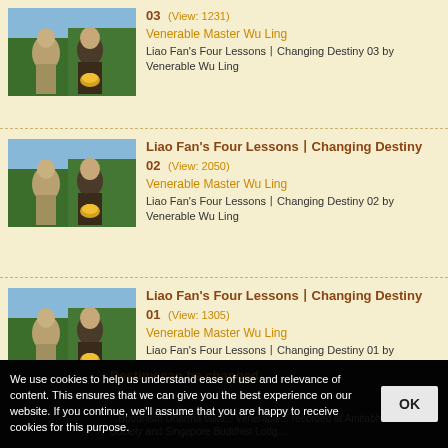Liao Fan's Four Lessons—Changing Destiny 03 (View: 1231) Venerable Master Wu Ling — Liao Fan's Four Lessons—Changing Destiny 03 by Venerable Wu Ling
Liao Fan's Four Lessons—Changing Destiny 02 (View: 2050) Venerable Master Wu Ling — Liao Fan's Four Lessons—Changing Destiny 02 by Venerable Wu Ling
Liao Fan's Four Lessons—Changing Destiny 01 (View: 1305) Venerable Master Wu Ling — Liao Fan's Four Lessons—Changing Destiny 01 by Venerable Wu Ling
We use cookies to help us understand ease of use and relevance of content. This ensures that we can give you the best experience on our website. If you continue, we'll assume that you are happy to receive cookies for this purpose.